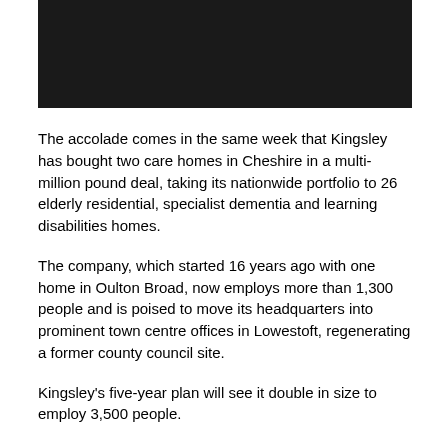[Figure (photo): Dark/black rectangular image block at top of page]
The accolade comes in the same week that Kingsley has bought two care homes in Cheshire in a multi-million pound deal, taking its nationwide portfolio to 26 elderly residential, specialist dementia and learning disabilities homes.
The company, which started 16 years ago with one home in Oulton Broad, now employs more than 1,300 people and is poised to move its headquarters into prominent town centre offices in Lowestoft, regenerating a former county council site.
Kingsley's five-year plan will see it double in size to employ 3,500 people.